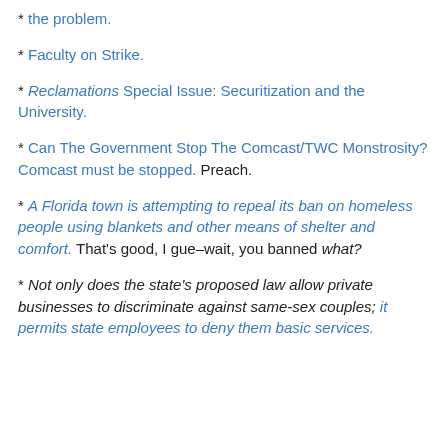* the problem.
* Faculty on Strike.
* Reclamations Special Issue: Securitization and the University.
* Can The Government Stop The Comcast/TWC Monstrosity? Comcast must be stopped. Preach.
* A Florida town is attempting to repeal its ban on homeless people using blankets and other means of shelter and comfort. That's good, I gue–wait, you banned what?
* Not only does the state's proposed law allow private businesses to discriminate against same-sex couples; it permits state employees to deny them basic services.